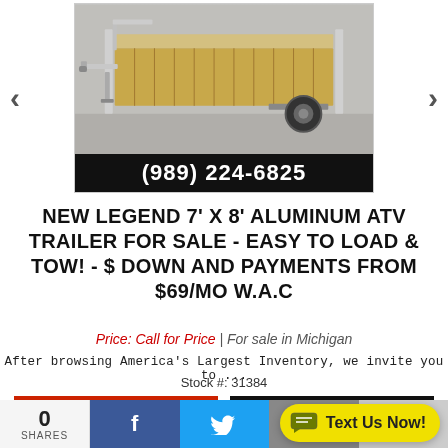[Figure (photo): Photo of a Legend 7x8 aluminum ATV trailer, showing the flat deck with aluminum siding, single axle with tire, and fold-down ramps. Navigation arrows on left and right sides. Phone number (989) 224-6825 displayed in white text on black bar at bottom of photo.]
NEW LEGEND 7' X 8' ALUMINUM ATV TRAILER FOR SALE - EASY TO LOAD & TOW! - $ DOWN AND PAYMENTS FROM $69/MO W.A.C
Price: Call for Price | For sale in Michigan
After browsing America's Largest Inventory, we invite you to ...
Stock #: 31384
GET A QUOTE
VIEW DETAILS
0 SHARES
Text Us Now!